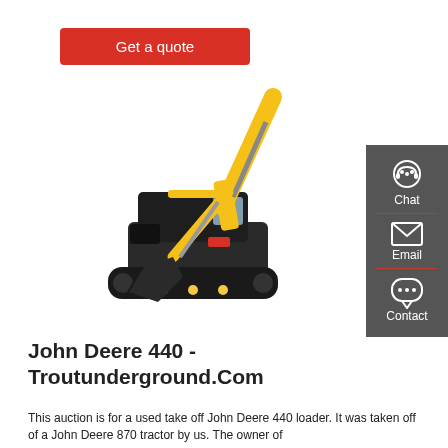Get a quote
[Figure (photo): A yellow John Deere excavator on a white background, shown in profile with arm extended and bucket lowered.]
John Deere 440 - Troutunderground.Com
This auction is for a used take off John Deere 440 loader. It was taken off of a John Deere 870 tractor by us. The owner of